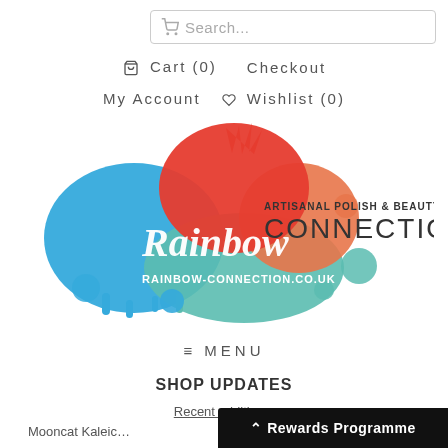Search...
Cart (0)   Checkout
My Account   Wishlist (0)
[Figure (logo): Rainbow Connection logo with colorful paint splatter and text 'Rainbow Connection - Artisanal Polish & Beauty - RAINBOW-CONNECTION.CO.UK']
≡ MENU
SHOP UPDATES
Recent additions:
Mooncat Kaleic...
Rewards Programme